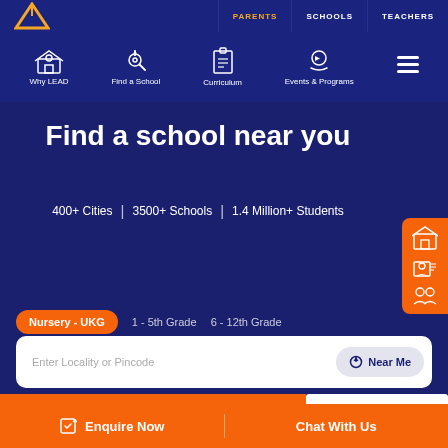PARENTS | SCHOOLS | TEACHERS
[Figure (screenshot): Navigation bar with icons: Why LEAD, Find a School, Curriculum, Events & Programs, and hamburger menu]
Find a school near you
400+ Cities | 3500+ Schools | 1.4 Million+ Students
Nursery - UKG
1 - 5th Grade
6 - 12th Grade
Enter Locality or Pincode
Near Me
Search
English >
Enquire Now | Chat With Us